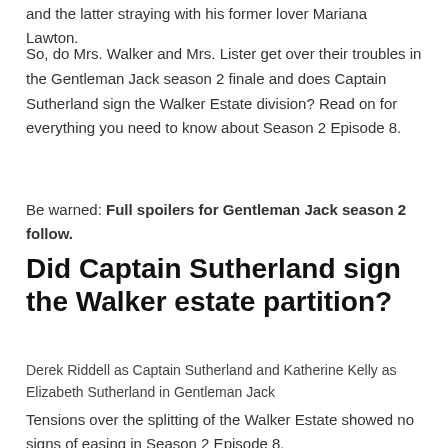and the latter straying with his former lover Mariana Lawton.
So, do Mrs. Walker and Mrs. Lister get over their troubles in the Gentleman Jack season 2 finale and does Captain Sutherland sign the Walker Estate division? Read on for everything you need to know about Season 2 Episode 8.
Be warned: Full spoilers for Gentleman Jack season 2 follow.
Did Captain Sutherland sign the Walker estate partition?
Derek Riddell as Captain Sutherland and Katherine Kelly as Elizabeth Sutherland in Gentleman Jack
Tensions over the splitting of the Walker Estate showed no signs of easing in Season 2 Episode 8.
After it was discovered that the Crow Nest deeds had been at